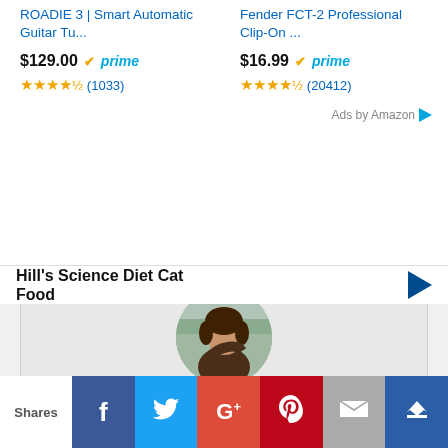ROADIE 3 | Smart Automatic Guitar Tu...
$129.00 ✓prime ★★★★½ (1033)
Fender FCT-2 Professional Clip-On ...
$16.99 ✓prime ★★★★½ (20412)
Ads by Amazon
[Figure (photo): Circular profile photo of a young woman covering her mouth with her hand, wearing a brown jacket, with trees in background]
About the
Hill's Science Diet Cat Food
Shares  f  (Twitter)  G+  P  (email)  (crown)